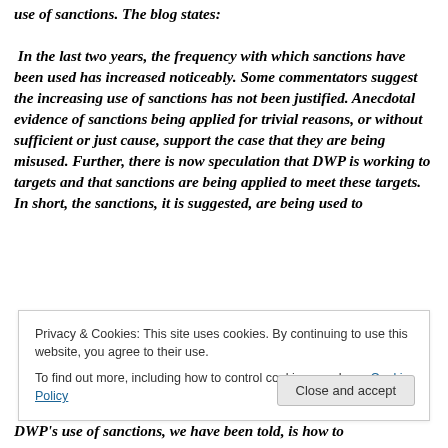use of sanctions. The blog states: In the last two years, the frequency with which sanctions have been used has increased noticeably. Some commentators suggest the increasing use of sanctions has not been justified. Anecdotal evidence of sanctions being applied for trivial reasons, or without sufficient or just cause, support the case that they are being misused. Further, there is now speculation that DWP is working to targets and that sanctions are being applied to meet these targets. In short, the sanctions, it is suggested, are being used to
Privacy & Cookies: This site uses cookies. By continuing to use this website, you agree to their use. To find out more, including how to control cookies, see here: Cookie Policy
DWP's use of sanctions, we have been told, is how to